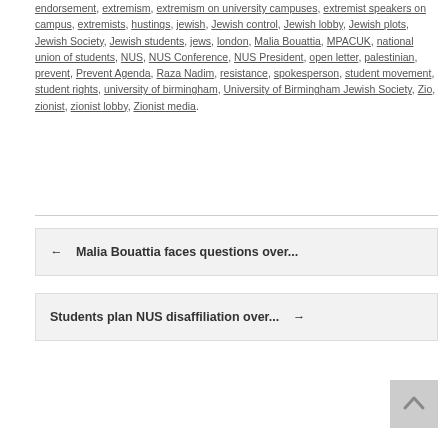endorsement, extremism, extremism on university campuses, extremist speakers on campus, extremists, hustings, jewish, Jewish control, Jewish lobby, Jewish plots, Jewish Society, Jewish students, jews, london, Malia Bouattia, MPACUK, national union of students, NUS, NUS Conference, NUS President, open letter, palestinian, prevent, Prevent Agenda, Raza Nadim, resistance, spokesperson, student movement, student rights, university of birmingham, University of Birmingham Jewish Society, Zio, zionist, zionist lobby, Zionist media.
← Malia Bouattia faces questions over...
Students plan NUS disaffiliation over... →